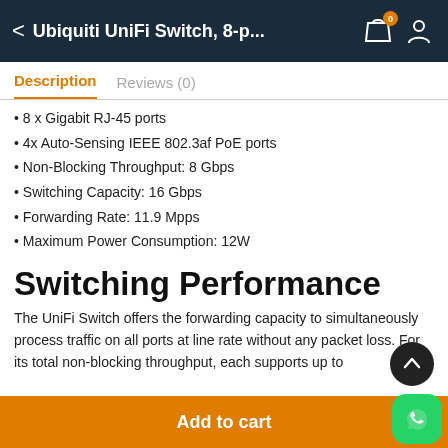Ubiquiti UniFi Switch, 8-p...
Description   Reviews (0)
8 x Gigabit RJ-45 ports
4x Auto-Sensing IEEE 802.3af PoE ports
Non-Blocking Throughput: 8 Gbps
Switching Capacity: 16 Gbps
Forwarding Rate: 11.9 Mpps
Maximum Power Consumption: 12W
Switching Performance
The UniFi Switch offers the forwarding capacity to simultaneously process traffic on all ports at line rate without any packet loss. For its total non-blocking throughput, each supports up to
Add to cart